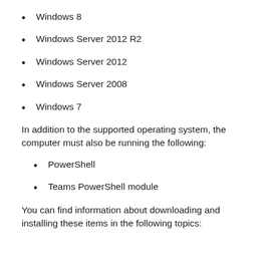Windows 8
Windows Server 2012 R2
Windows Server 2012
Windows Server 2008
Windows 7
In addition to the supported operating system, the computer must also be running the following:
PowerShell
Teams PowerShell module
You can find information about downloading and installing these items in the following topics: